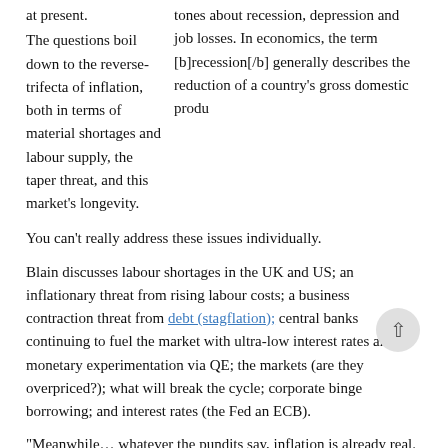at present.
tones about recession, depression and job losses. In economics, the term [b]recession[/b] generally describes the reduction of a country's gross domestic produ
The questions boil down to the reverse-trifecta of inflation, both in terms of material shortages and labour supply, the taper threat, and this market's longevity.
You can't really address these issues individually.
Blain discusses labour shortages in the UK and US; an inflationary threat from rising labour costs; a business contraction threat from debt (stagflation); central banks continuing to fuel the market with ultra-low interest rates and monetary experimentation via QE; the markets (are they overpriced?); what will break the cycle; corporate binge borrowing; and interest rates (the Fed an ECB).
“Meanwhile… whatever the pundits say, inflation is already real. We know it will impact commodities and materials and therefore